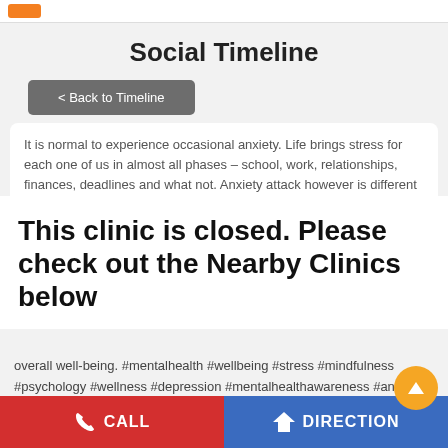Social Timeline
< Back to Timeline
It is normal to experience occasional anxiety. Life brings stress for each one of us in almost all phases – school, work, relationships, finances, deadlines and what not. Anxiety attack however is different
This clinic is closed. Please check out the Nearby Clinics below
overall well-being. #mentalhealth #wellbeing #stress #mindfulness #psychology #wellness #depression #mentalhealthawareness #anxiety #selfcare
CALL   DIRECTION